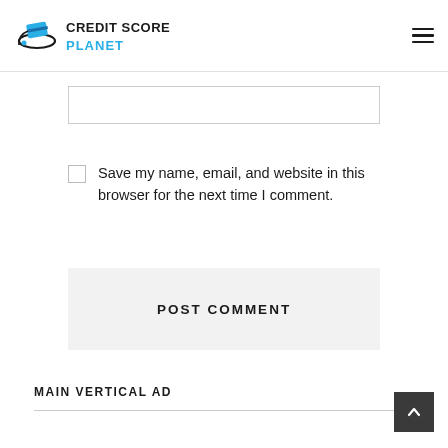Credit Score Planet
Save my name, email, and website in this browser for the next time I comment.
POST COMMENT
MAIN VERTICAL AD